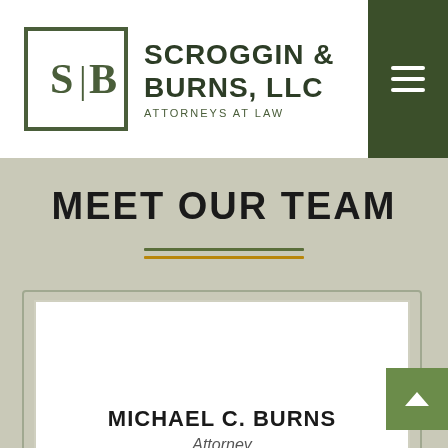[Figure (logo): Scroggin & Burns, LLC Attorneys at Law logo with S|B monogram in brackets]
MEET OUR TEAM
MICHAEL C. BURNS
Attorney